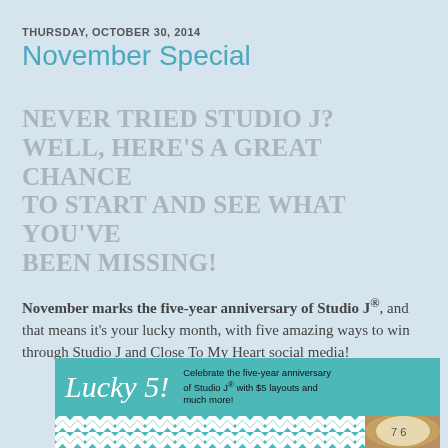THURSDAY, OCTOBER 30, 2014
November Special
NEVER TRIED STUDIO J? WELL, HERE'S A GREAT CHANCE TO START AND SEE WHAT YOU'VE BEEN MISSING!
November marks the five-year anniversary of Studio J®, and that means it's your lucky month, with five amazing ways to win through Studio J and Close To My Heart social media!
[Figure (illustration): Promotional banner for 'Lucky 5!' Studio J five-year anniversary. Teal background with white italic text 'Lucky 5!' and description text: 'Celebrate the five-year anniversary of Studio J® with $5 layouts and much more!' Below is a partial image showing a teal and white chevron-patterned box/item and a clock on a tan/brown background.]